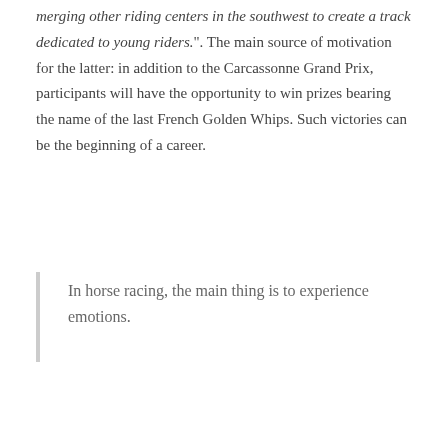merging other riding centers in the southwest to create a track dedicated to young riders.". The main source of motivation for the latter: in addition to the Carcassonne Grand Prix, participants will have the opportunity to win prizes bearing the name of the last French Golden Whips. Such victories can be the beginning of a career.
In horse racing, the main thing is to experience emotions.
Obviously without racing there will be no racing and this aspect of the will also be part of this senior race. Calendar? Saturday, the fizz. Many professional drivers will race for a total of 2 laps. Maybe just the of the day with an early? Thus, the site will be open from 12 noon, once it focuses on citizens on the territory, it will
We use cookies to ensure that we give you the best experience on our website. If you continue to use this site we will assume that you are happy with it.